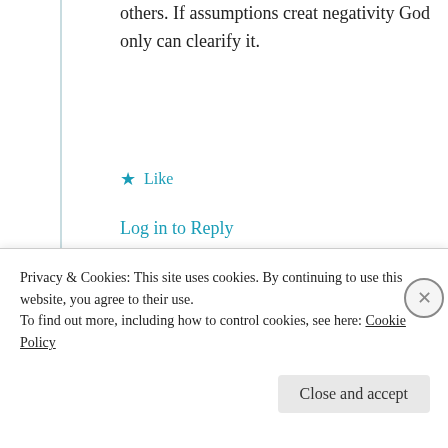others. If assumptions creat negativity God only can clearify it.
★ Like
Log in to Reply
[Figure (illustration): Golden decorative avatar icon for user mildredprincewelch]
mildredprince welch
9th Jul 2021 at 3:28
Privacy & Cookies: This site uses cookies. By continuing to use this website, you agree to their use. To find out more, including how to control cookies, see here: Cookie Policy
Close and accept